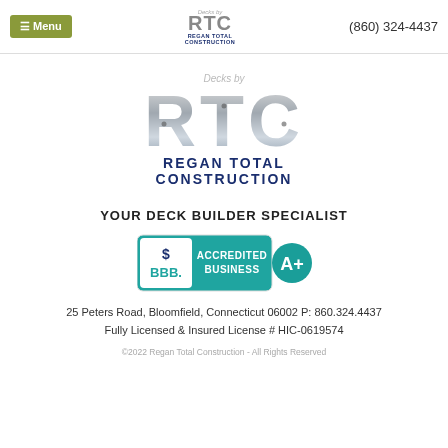≡ Menu   RTC Regan Total Construction   (860) 324-4437
[Figure (logo): Decks by RTC Regan Total Construction logo with large metallic RTC letters and dark blue company name text below]
YOUR DECK BUILDER SPECIALIST
[Figure (logo): BBB Accredited Business A+ badge with teal background]
25 Peters Road, Bloomfield, Connecticut 06002 P: 860.324.4437
Fully Licensed & Insured License # HIC-0619574
©2022 Regan Total Construction - All Rights Reserved